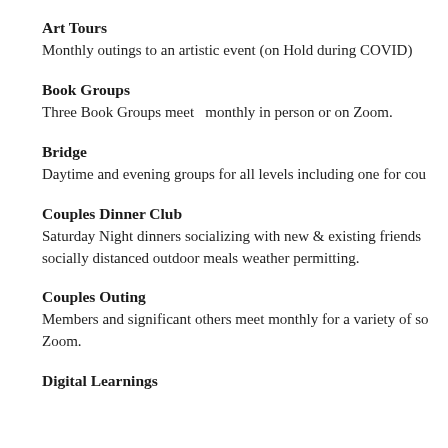Art Tours
Monthly outings to an artistic event (on Hold during COVID)
Book Groups
Three Book Groups meet  monthly in person or on Zoom.
Bridge
Daytime and evening groups for all levels including one for cou
Couples Dinner Club
Saturday Night dinners socializing with new & existing friends socially distanced outdoor meals weather permitting.
Couples Outing
Members and significant others meet monthly for a variety of so Zoom.
Digital Learnings